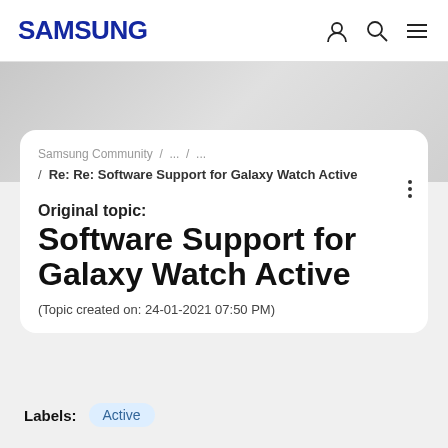SAMSUNG
Samsung Community / ... / ...
/ Re: Re: Software Support for Galaxy Watch Active
Original topic:
Software Support for Galaxy Watch Active
(Topic created on: 24-01-2021 07:50 PM)
Labels: Active